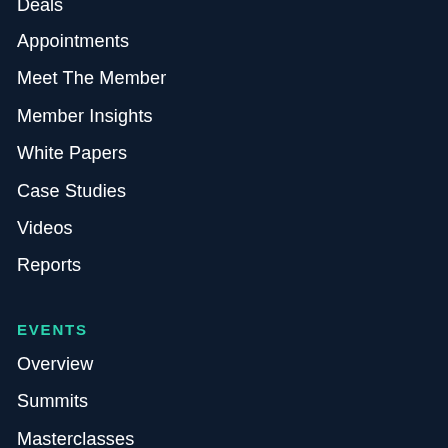Deals
Appointments
Meet The Member
Member Insights
White Papers
Case Studies
Videos
Reports
EVENTS
Overview
Summits
Masterclasses
Roundtables